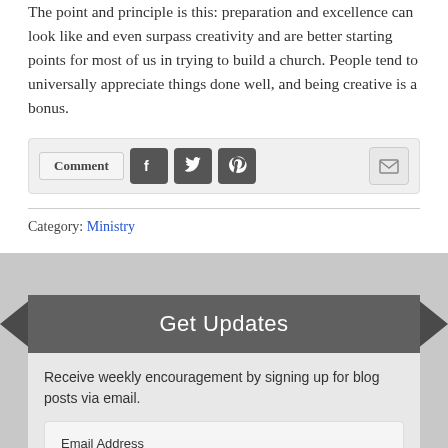The point and principle is this: preparation and excellence can look like and even surpass creativity and are better starting points for most of us in trying to build a church. People tend to universally appreciate things done well, and being creative is a bonus.
[Figure (other): Social sharing bar with Comment button, Facebook, Twitter, Pinterest icons, and email icon]
Category: Ministry
Get Updates
Receive weekly encouragement by signing up for blog posts via email.
Email Address